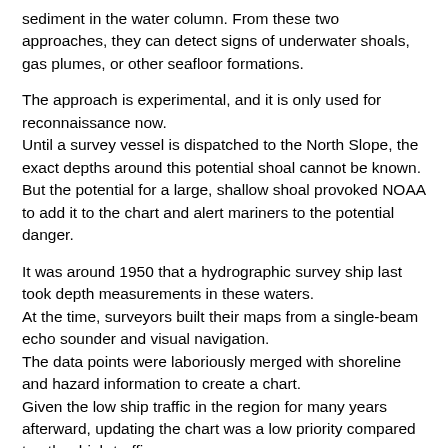sediment in the water column. From these two approaches, they can detect signs of underwater shoals, gas plumes, or other seafloor formations.
The approach is experimental, and it is only used for reconnaissance now. Until a survey vessel is dispatched to the North Slope, the exact depths around this potential shoal cannot be known. But the potential for a large, shallow shoal provoked NOAA to add it to the chart and alert mariners to the potential danger.
It was around 1950 that a hydrographic survey ship last took depth measurements in these waters. At the time, surveyors built their maps from a single-beam echo sounder and visual navigation. The data points were laboriously merged with shoreline and hazard information to create a chart. Given the low ship traffic in the region for many years afterward, updating the chart was a low priority compared to other high-traffic areas.